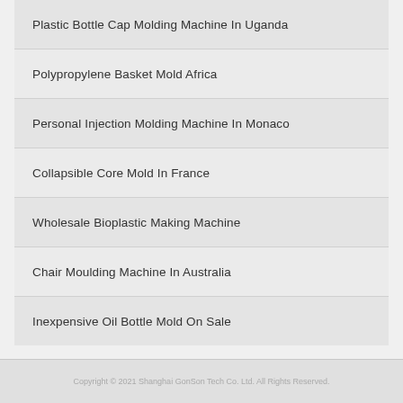Plastic Bottle Cap Molding Machine In Uganda
Polypropylene Basket Mold Africa
Personal Injection Molding Machine In Monaco
Collapsible Core Mold In France
Wholesale Bioplastic Making Machine
Chair Moulding Machine In Australia
Inexpensive Oil Bottle Mold On Sale
Copyright © 2021 Shanghai GonSon Tech Co. Ltd. All Rights Reserved.